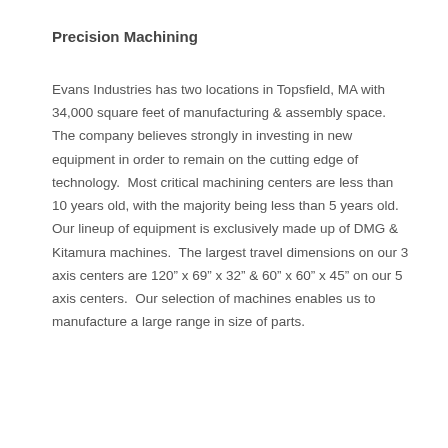Precision Machining
Evans Industries has two locations in Topsfield, MA with 34,000 square feet of manufacturing & assembly space.  The company believes strongly in investing in new equipment in order to remain on the cutting edge of technology.  Most critical machining centers are less than 10 years old, with the majority being less than 5 years old.  Our lineup of equipment is exclusively made up of DMG & Kitamura machines.  The largest travel dimensions on our 3 axis centers are 120" x 69" x 32" & 60" x 60" x 45" on our 5 axis centers.  Our selection of machines enables us to manufacture a large range in size of parts.